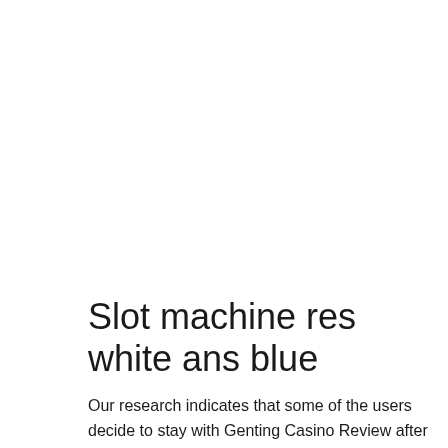Slot machine res white ans blue
Our research indicates that some of the users decide to stay with Genting Casino Review after giving it a shot, while others continue their journey to find other casinos.